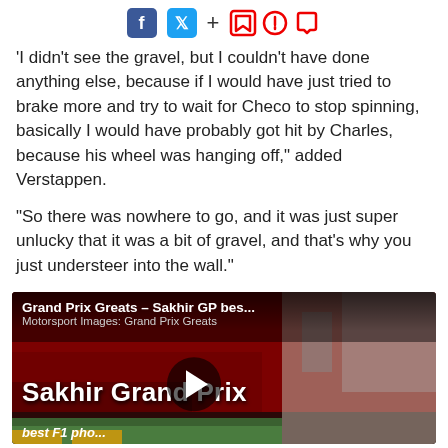Social media share icons: Facebook, Twitter, plus, bookmark, bell, comment
'I didn't see the gravel, but I couldn't have done anything else, because if I would have just tried to brake more and try to wait for Checo to stop spinning, basically I would have probably got hit by Charles, because his wheel was hanging off," added Verstappen.
"So there was nowhere to go, and it was just super unlucky that it was a bit of gravel, and that's why you just understeer into the wall."
[Figure (screenshot): Video thumbnail for 'Grand Prix Greats – Sakhir GP bes...' by Motorsport Images: Grand Prix Greats, showing a red background with 'Sakhir Grand Prix' text overlay, a play button, and partial text 'best F1 pho...' at the bottom]